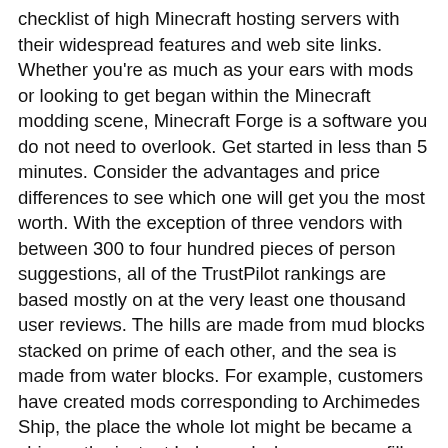checklist of high Minecraft hosting servers with their widespread features and web site links. Whether you're as much as your ears with mods or looking to get began within the Minecraft modding scene, Minecraft Forge is a software you do not need to overlook. Get started in less than 5 minutes. Consider the advantages and price differences to see which one will get you the most worth. With the exception of three vendors with between 300 to four hundred pieces of person suggestions, all of the TrustPilot rankings are based mostly on at the very least one thousand user reviews. The hills are made from mud blocks stacked on prime of each other, and the sea is made from water blocks. For example, customers have created mods corresponding to Archimedes Ship, the place the whole lot might be became a ship, or the instant Lake mod where you can fill any house, immediately, with water or lava. Many internet hosting providers provide a one-click on modpack installer, a way more person-friendly option for non-technical customers. Servers Some Minecraft server hosting providers might give you the choice to switch between areas. However with so many Minecraft internet hosting server options on the market, some higher than others, you may want help selecting which is finest for you. Focus on IL-2 Sturmovik: 1946, which is mainly a compilation release that includes every attainable World Struggle II-period aircraft you'd ever want to pilot. When you wish to operate a